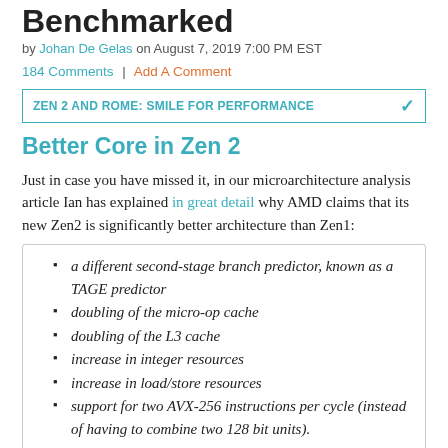Benchmarked
by Johan De Gelas on August 7, 2019 7:00 PM EST
184 Comments | Add A Comment
ZEN 2 AND ROME: SMILE FOR PERFORMANCE
Better Core in Zen 2
Just in case you have missed it, in our microarchitecture analysis article Ian has explained in great detail why AMD claims that its new Zen2 is significantly better architecture than Zen1:
a different second-stage branch predictor, known as a TAGE predictor
doubling of the micro-op cache
doubling of the L3 cache
increase in integer resources
increase in load/store resources
support for two AVX-256 instructions per cycle (instead of having to combine two 128 bit units).
All of these on-paper improvements show that AMD is attacking its